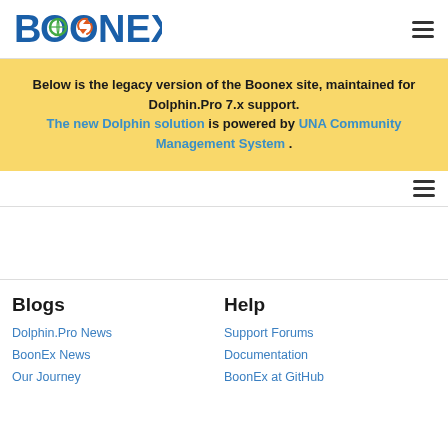BOONEX
Below is the legacy version of the Boonex site, maintained for Dolphin.Pro 7.x support. The new Dolphin solution is powered by UNA Community Management System.
Blogs
Help
Dolphin.Pro News
Support Forums
BoonEx News
Documentation
Our Journey
BoonEx at GitHub